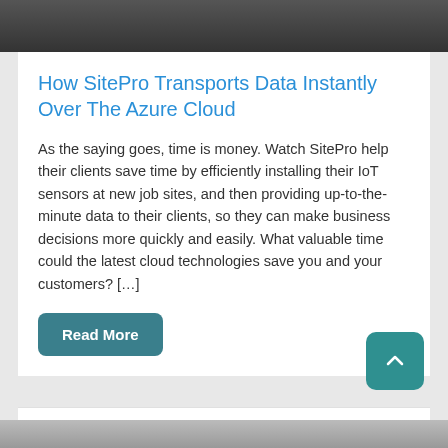[Figure (photo): Dark background image at top of card]
How SitePro Transports Data Instantly Over The Azure Cloud
As the saying goes, time is money. Watch SitePro help their clients save time by efficiently installing their IoT sensors at new job sites, and then providing up-to-the-minute data to their clients, so they can make business decisions more quickly and easily. What valuable time could the latest cloud technologies save you and your customers? […]
Read More
April 23, 2020
[Figure (photo): Partial image visible at bottom of page]